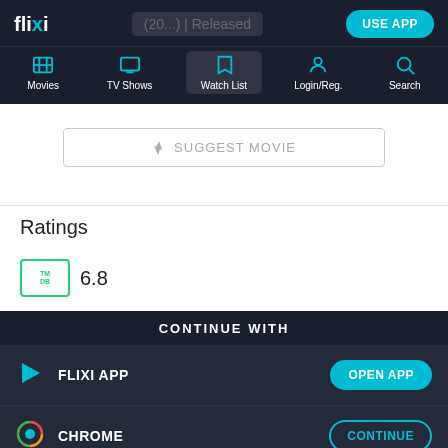flixi — (20...) | Released — USE APP — Movies, TV Shows, Watch List, Login/Reg., Search
SUGGEST MOVIE
Ratings
6.8
CONTINUE WITH
FLIXI APP — OPEN APP
CHROME — CONTINUE